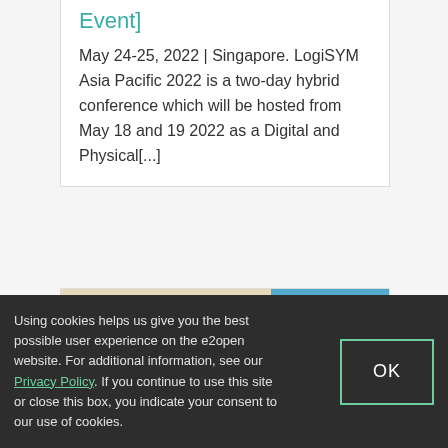Event]
May 24-25, 2022 | Singapore. LogiSYM Asia Pacific 2022 is a two-day hybrid conference which will be hosted from May 18 and 19 2022 as a Digital and Physical[...]
[Figure (screenshot): Event card with LogiMAT logo on a tan/beige background on the left and a blue gradient sky on the right, with 'EVENT' label above the logo]
Using cookies helps us give you the best possible user experience on the e2open website. For additional information, see our Privacy Policy. If you continue to use this site or close this box, you indicate your consent to our use of cookies.